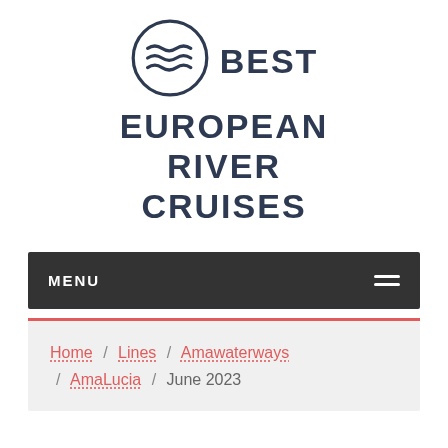[Figure (logo): Best European River Cruises logo: circle with three wave lines and text 'BEST EUROPEAN RIVER CRUISES']
BEST EUROPEAN RIVER CRUISES
MENU
Home / Lines / Amawaterways / AmaLucia / June 2023